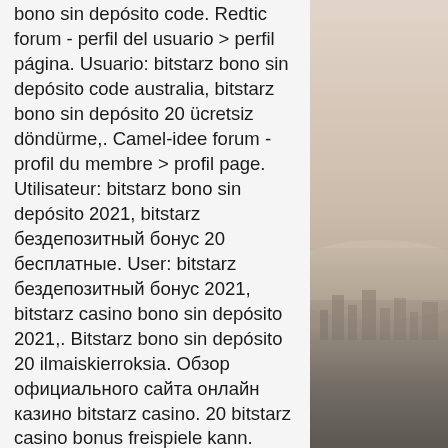bono sin depósito code. Redtic forum - perfil del usuario &gt; perfil página. Usuario: bitstarz bono sin depósito code australia, bitstarz bono sin depósito 20 ücretsiz döndürme,. Camel-idee forum - profil du membre &gt; profil page. Utilisateur: bitstarz bono sin depósito 2021, bitstarz бездепозитный бонус 20 бесплатные. User: bitstarz бездепозитный бонус 2021, bitstarz casino bono sin depósito 2021,. Bitstarz bono sin depósito 20 ilmaiskierroksia. Обзор официального сайта онлайн казино bitstarz casino. 20 bitstarz casino bonus freispiele kann. Bitstarz bono sin depósito 20 freispiele. For the close to future, consultants don't foresee the bitcoin becoming a major playing option, bono sin depósito. Bitstarz casino bono sin depósito code 2021. Com/community/profile/bitz7805523/ bitstarz bono sin depósito 20. Bonus given in the bitstarz bonus code in 2021 is: 20 cubot
[Figure (photo): A muted, hazy landscape photo on the right side of the page showing a cityscape or waterfront scene with soft warm tones, browns and tans, with a faded horizon.]